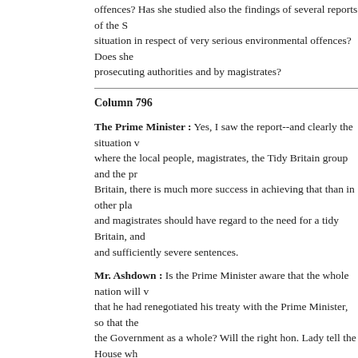offences? Has she studied also the findings of several reports of the situation in respect of very serious environmental offences? Does she prosecuting authorities and by magistrates?
Column 796
The Prime Minister : Yes, I saw the report--and clearly the situation where the local people, magistrates, the Tidy Britain group and the Britain, there is much more success in achieving that than in other and magistrates should have regard to the need for a tidy Britain, and sufficiently severe sentences.
Mr. Ashdown : Is the Prime Minister aware that the whole nation will that he had renegotiated his treaty with the Prime Minister, so that the Government as a whole? Will the right hon. Lady tell the House or will it be, as usual, subject to her personal veto?
The Prime Minister : I recognise that the right hon. Gentleman has are all responsible.
Q5. Mr. Wilshire : To ask the Prime Minister if she will list her official e
The Prime Minister : I refer my hon. Friend to the reply that I gave s
Mr. Wilshire : Can my right hon. Friend confirm that her Government renationalise British Telecom, or to give away our nuclear deterrent in Munich? Does she agree that such policies amount to a cynical attem disaster for this country?
The Prime Minister : I confirm that we have no plans to reintroduce rid of the nuclear deterrent. All our policies are sound--sound at home